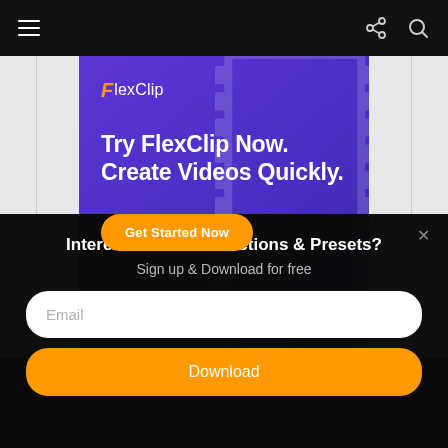navigation bar with hamburger menu, share icon, and search icon
[Figure (illustration): FlexClip advertisement banner with purple gradient background, film strip decoration, FlexClip logo, headline 'Try FlexClip Now. Create Videos Quickly.' and orange 'Get Started Now' button]
Interested in PS/LR Actions & Presets?
Sign up & Download for free
Email
Download